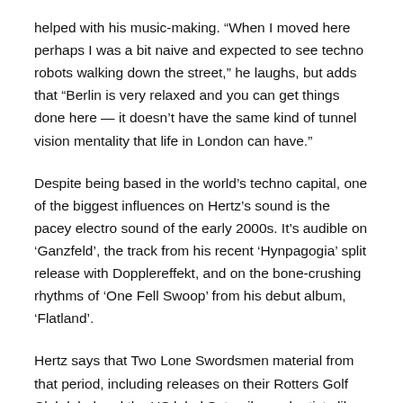helped with his music-making. “When I moved here perhaps I was a bit naive and expected to see techno robots walking down the street,” he laughs, but adds that “Berlin is very relaxed and you can get things done here — it doesn’t have the same kind of tunnel vision mentality that life in London can have.”
Despite being based in the world’s techno capital, one of the biggest influences on Hertz’s sound is the pacey electro sound of the early 2000s. It’s audible on ‘Ganzfeld’, the track from his recent ‘Hynpagogia’ split release with Dopplereffekt, and on the bone-crushing rhythms of ‘One Fell Swoop’ from his debut album, ‘Flatland’.
Hertz says that Two Lone Swordsmen material from that period, including releases on their Rotters Golf Club label and the US label Satamile, and artists like Dexorcist and Bass Junkie continue to shape his music. Refreshingly, he doesn’t claim to have collected every record before that thing making to complete. “